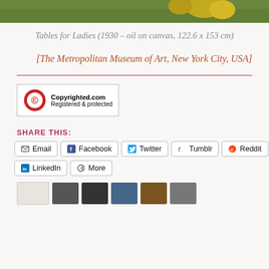[Figure (photo): Top portion of a painting showing fruits and colorful still life elements]
Tables for Ladies (1930 – oil on canvas, 122.6 x 153 cm)
[The Metropolitan Museum of Art, New York City, USA]
[Figure (logo): Copyrighted.com Registered & protected badge with red circle-C icon]
SHARE THIS:
Email
Facebook
Twitter
Tumblr
Reddit
LinkedIn
More
[Figure (photo): Row of thumbnail images at bottom of page]